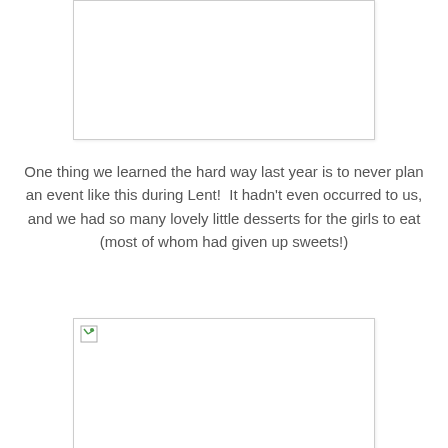[Figure (photo): Image placeholder at top of page (image failed to load)]
One thing we learned the hard way last year is to never plan an event like this during Lent!  It hadn't even occurred to us, and we had so many lovely little desserts for the girls to eat (most of whom had given up sweets!)
[Figure (photo): Image placeholder at bottom of page with broken image icon (image failed to load)]